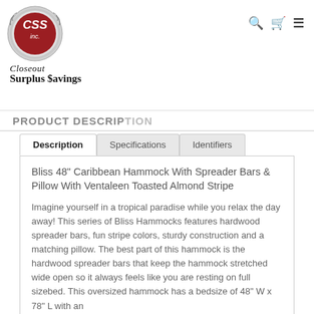[Figure (logo): CSS Inc. Closeout Surplus Savings logo — circular red badge with silver border and white CSS inc. text, below which reads 'Closeout Surplus Savings' in serif font]
🔍 🛒 ☰
PRODUCT DESCRIPTION
Description  Specifications  Identifiers
Bliss 48" Caribbean Hammock With Spreader Bars & Pillow With Ventaleen Toasted Almond Stripe
Imagine yourself in a tropical paradise while you relax the day away! This series of Bliss Hammocks features hardwood spreader bars, fun stripe colors, sturdy construction and a matching pillow. The best part of this hammock is the hardwood spreader bars that keep the hammock stretched wide open so it always feels like you are resting on full sizebed. This oversized hammock has a bedsize of 48" W x 78" L with an overall length of 9 ft. Made with Ventaleen...